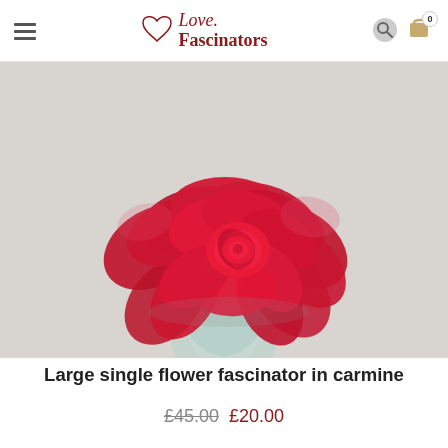Love Fascinators — navigation header with hamburger menu, logo, search and cart icons
[Figure (photo): A large red/carmine single flower fascinator (rose-style) displayed on a clear glass head mannequin against a light grey background.]
Large single flower fascinator in carmine
£45.00 £20.00